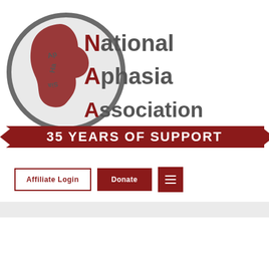[Figure (logo): National Aphasia Association logo: a dark red circle with a stylized face profile silhouette and scattered letters 'Ap', 'Ha', 'Sia' inside, next to the text 'National Aphasia Association' in bold gray/red with first letters highlighted in dark red. Below the logo is a dark red ribbon banner reading '35 YEARS OF SUPPORT' in white bold text.]
Affiliate Login
Donate